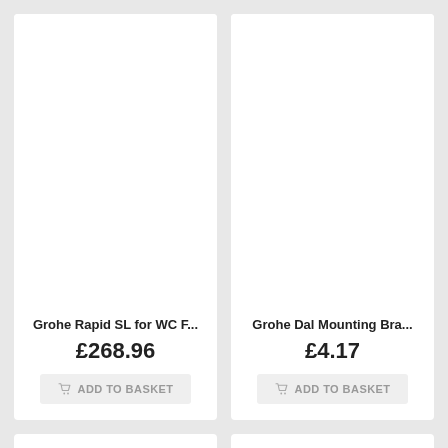Grohe Rapid SL for WC F...
£268.96
ADD TO BASKET
Grohe Dal Mounting Bra...
£4.17
ADD TO BASKET